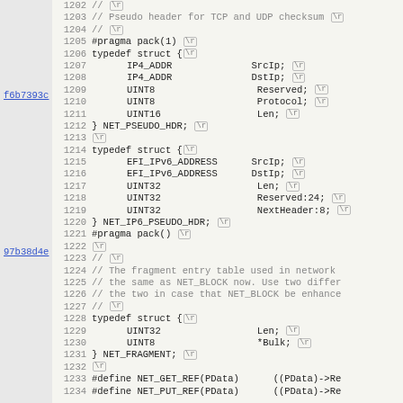[Figure (screenshot): Source code viewer showing C/C++ header file lines 1202-1234, with line numbers, code content including struct typedefs for NET_PSEUDO_HDR and NET_IP6_PSEUDO_HDR and NET_FRAGMENT, commit hash links f6b7393c and 97b38d4e in the left margin, and  end-of-line markers shown as boxed text.]